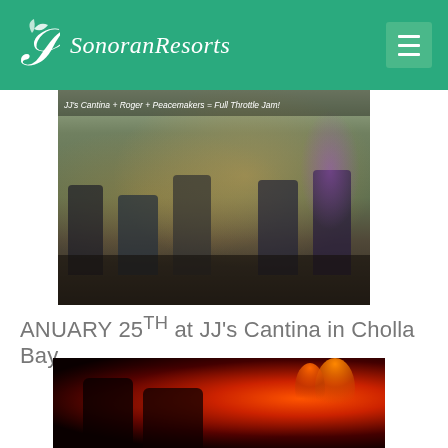Sonoran Resorts
[Figure (photo): Band performing on stage at JJ's Cantina. Caption reads: JJ's Cantina + Roger + Peacemakers = Full Throttle Jam!]
ANUARY 25TH at JJ's Cantina in Cholla Bay
[Figure (photo): Concert performers lit by red stage lighting, partial view at bottom of page]